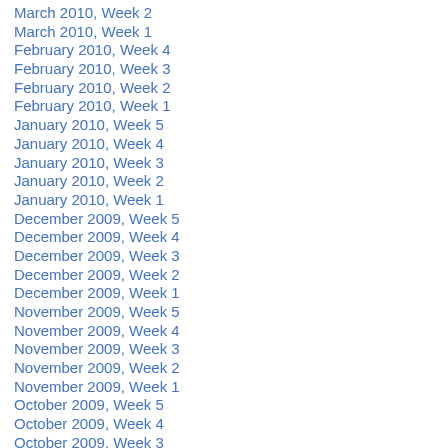March 2010, Week 2
March 2010, Week 1
February 2010, Week 4
February 2010, Week 3
February 2010, Week 2
February 2010, Week 1
January 2010, Week 5
January 2010, Week 4
January 2010, Week 3
January 2010, Week 2
January 2010, Week 1
December 2009, Week 5
December 2009, Week 4
December 2009, Week 3
December 2009, Week 2
December 2009, Week 1
November 2009, Week 5
November 2009, Week 4
November 2009, Week 3
November 2009, Week 2
November 2009, Week 1
October 2009, Week 5
October 2009, Week 4
October 2009, Week 3
October 2009, Week 2
October 2009, Week 1
September 2009, Week 5
September 2009, Week 4
September 2009, Week 3
September 2009, Week 2